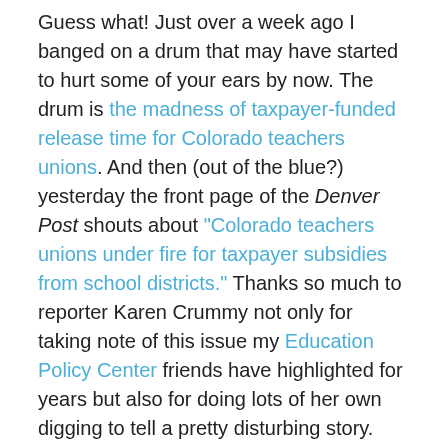Guess what! Just over a week ago I banged on a drum that may have started to hurt some of your ears by now. The drum is the madness of taxpayer-funded release time for Colorado teachers unions. And then (out of the blue?) yesterday the front page of the Denver Post shouts about "Colorado teachers unions under fire for taxpayer subsidies from school districts." Thanks so much to reporter Karen Crummy not only for taking note of this issue my Education Policy Center friends have highlighted for years but also for doing lots of her own digging to tell a pretty disturbing story.
The Post's findings about the number of districts paying tax dollars for union officers and other teachers to leave the classroom, and the lack of accountability for the